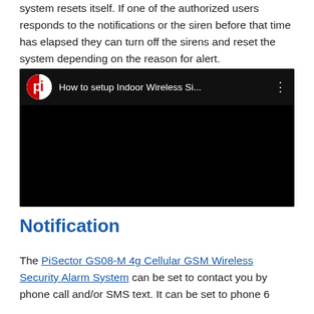system resets itself. If one of the authorized users responds to the notifications or the siren before that time has elapsed they can turn off the sirens and reset the system depending on the reason for alert.
[Figure (screenshot): Embedded YouTube video player showing 'How to setup Indoor Wireless Si...' with PiSector channel logo (red and white circular icon) and three-dot menu icon on a black background.]
Notification
The PiSector GS08-M 4g Cellular GSM Wireless Security Alarm System can be set to contact you by phone call and/or SMS text. It can be set to phone 6